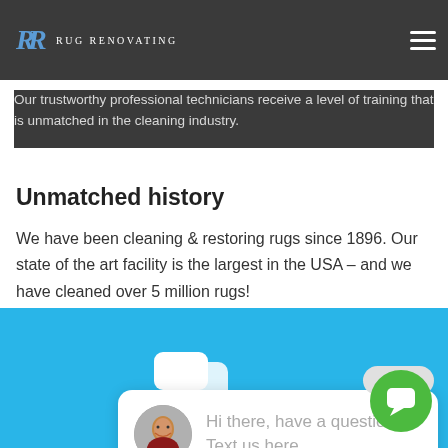Rug Renovating
Extensive training & background checks
Our trustworthy professional technicians receive a level of training that is unmatched in the cleaning industry.
Unmatched history
We have been cleaning & restoring rugs since 1896. Our state of the art facility is the largest in the USA – and we have cleaned over 5 million rugs!
[Figure (screenshot): Chat popup with avatar photo of a woman, text: Hi there, have a question? Text us here. Close button above. Green chat button in bottom right. Chat icon in blue footer area.]